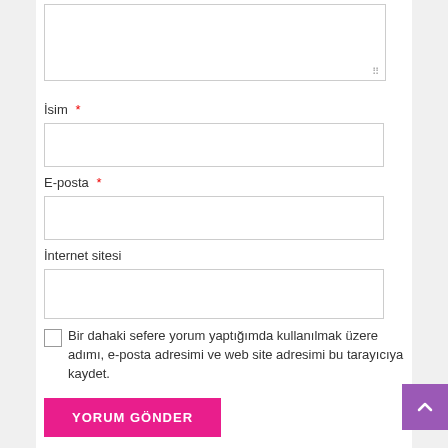[Figure (screenshot): Web form with textarea, name/email/website fields, checkbox, and submit button in Turkish]
İsim *
E-posta *
İnternet sitesi
Bir dahaki sefere yorum yaptığımda kullanılmak üzere adımı, e-posta adresimi ve web site adresimi bu tarayıcıya kaydet.
YORUM GÖNDER